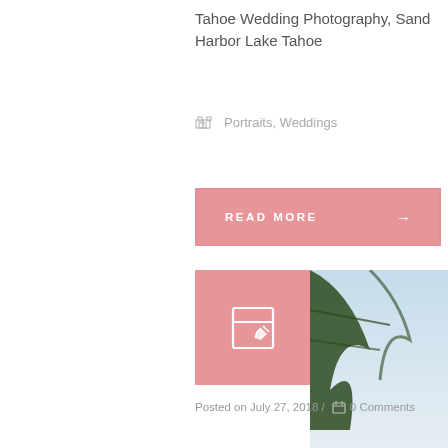Tahoe Wedding Photography, Sand Harbor Lake Tahoe
Portraits, Weddings
READ MORE →
[Figure (photo): Engagement photo at Lake Tahoe: a woman in a floral dress covers her mouth with her hands in surprise while a man kneels before her proposing, with pine trees and the lake in the background. A pink square with a pencil/edit icon overlays the top-left corner. Watermark reads 'Krystal Price'.]
Posted on July 27, 2018 / 0 Comments